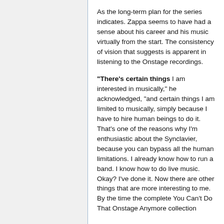As the long-term plan for the series indicates. Zappa seems to have had a sense about his career and his music virtually from the start. The consistency of vision that suggests is apparent in listening to the Onstage recordings.
"There's certain things I am interested in musically," he acknowledged, "and certain things I am limited to musically, simply because I have to hire human beings to do it. That's one of the reasons why I'm enthusiastic about the Synclavier, because you can bypass all the human limitations. I already know how to run a band. I know how to do live music. Okay? I've done it. Now there are other things that are more interesting to me. By the time the complete You Can't Do That Onstage Anymore collection